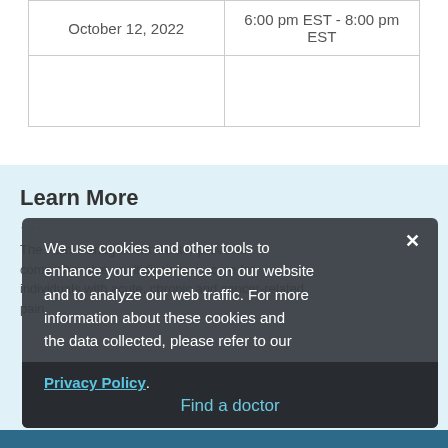| October 12, 2022 | 6:00 pm EST - 8:00 pm EST |
Learn More
The Pain Management Center provides comprehensive, multidisciplinary care for individuals with acute, chronic and cancer-related pain.
[Figure (screenshot): Cookie consent modal overlay with dark background showing cookie policy notice with Privacy Policy link and Find a doctor button]
We use cookies and other tools to enhance your experience on our website and to analyze our web traffic. For more information about these cookies and the data collected, please refer to our Privacy Policy.
Find a doctor